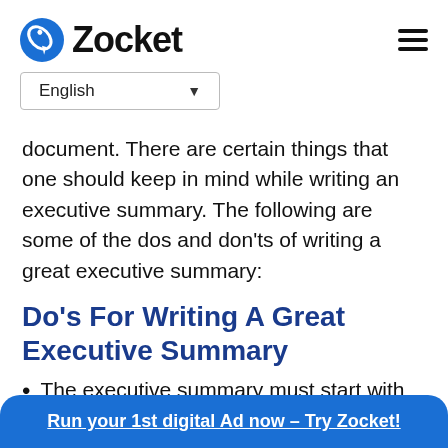Zocket
English
document. There are certain things that one should keep in mind while writing an executive summary. The following are some of the dos and don'ts of writing a great executive summary:
Do's For Writing A Great Executive Summary
The executive summary must start with an introduction to what the business is about
Run your 1st digital Ad now – Try Zocket!